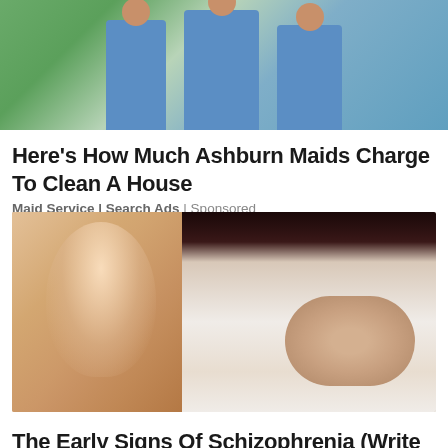[Figure (photo): Photo of three people wearing blue uniforms, maid/cleaning service workers, standing outdoors near a vehicle]
Here's How Much Ashburn Maids Charge To Clean A House
Maid Service | Search Ads | Sponsored
[Figure (photo): Photo of a distressed woman covering her face with her hands, with a ghostly blurred second face visible to the left, representing schizophrenia symptoms]
The Early Signs Of Schizophrenia (Write This Down)